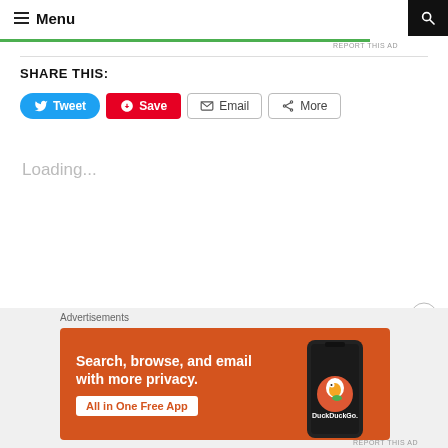Menu
REPORT THIS AD
SHARE THIS:
Tweet
Save
Email
More
Loading...
Advertisements
[Figure (screenshot): DuckDuckGo advertisement banner showing 'Search, browse, and email with more privacy. All in One Free App' with phone mockup and DuckDuckGo logo]
REPORT THIS AD